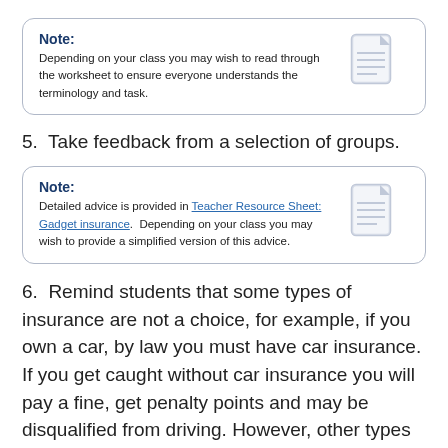Note: Depending on your class you may wish to read through the worksheet to ensure everyone understands the terminology and task.
5.  Take feedback from a selection of groups.
Note: Detailed advice is provided in Teacher Resource Sheet: Gadget insurance. Depending on your class you may wish to provide a simplified version of this advice.
6.  Remind students that some types of insurance are not a choice, for example, if you own a car, by law you must have car insurance. If you get caught without car insurance you will pay a fine, get penalty points and may be disqualified from driving. However, other types of insurance are optional, for instance you can decide whether or not to insure your mobile phone or laptop